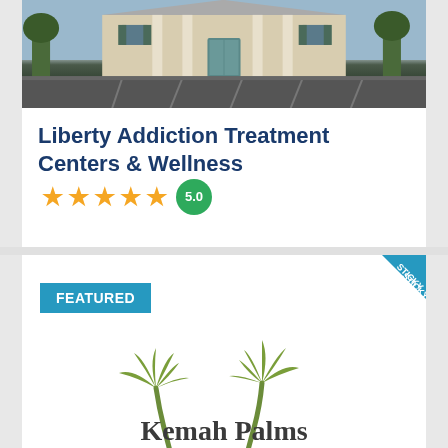[Figure (photo): Exterior photo of a building with parking lot in front, taken from a distance. Colonial-style facade with pillars and shuttered windows.]
Liberty Addiction Treatment Centers & Wellness ★★★★★ 5.0
[Figure (logo): Kemah Palms Recovery - Alcohol & Drug Treatment logo with two palm trees illustration]
FEATURED
STICKY